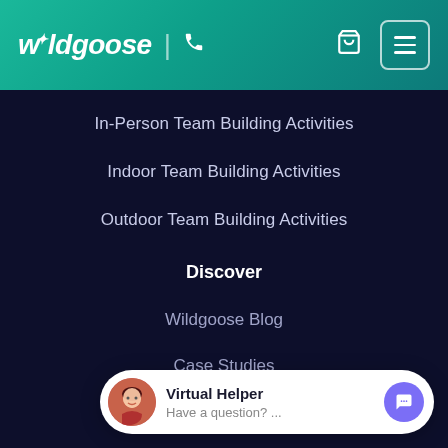[Figure (logo): Wildgoose logo in white italic text with star symbol, on teal gradient header with phone icon, cart icon, and hamburger menu button]
In-Person Team Building Activities
Indoor Team Building Activities
Outdoor Team Building Activities
Discover
Wildgoose Blog
Case Studies
Testimonials
Our Clients
Co...
About
[Figure (infographic): Virtual Helper chat widget with female avatar photo, title 'Virtual Helper', subtitle 'Have a question? ...' and purple chat bubble button]